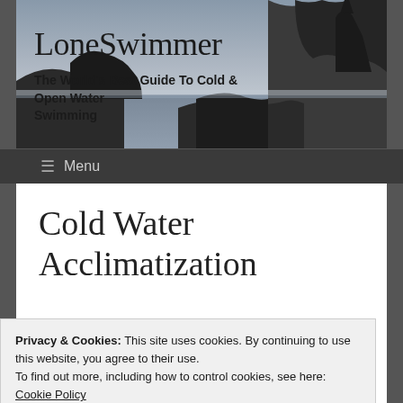[Figure (photo): Website header banner with dark moody coastal landscape featuring rocky cliffs and castle silhouette against a grey sky]
LoneSwimmer
The World's Best Guide To Cold & Open Water Swimming
≡ Menu
Cold Water Acclimatization
Privacy & Cookies: This site uses cookies. By continuing to use this website, you agree to their use.
To find out more, including how to control cookies, see here: Cookie Policy
Close and accept
plan was to do the same in this post also.